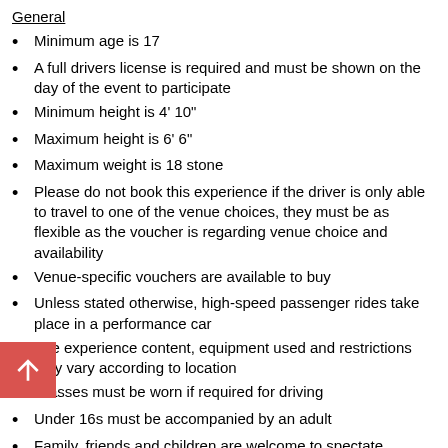General
Minimum age is 17
A full drivers license is required and must be shown on the day of the event to participate
Minimum height is 4' 10"
Maximum height is 6' 6"
Maximum weight is 18 stone
Please do not book this experience if the driver is only able to travel to one of the venue choices, they must be as flexible as the voucher is regarding venue choice and availability
Venue-specific vouchers are available to buy
Unless stated otherwise, high-speed passenger rides take place in a performance car
The experience content, equipment used and restrictions may vary according to location
Glasses must be worn if required for driving
Under 16s must be accompanied by an adult
Family, friends and children are welcome to spectate
Anyone deemed to be under the influence of alcohol or drugs will not be permitted to participate
No dogs (with the exception of guide dogs) allowed on site
Drivers must be able to understand instructions given to them in